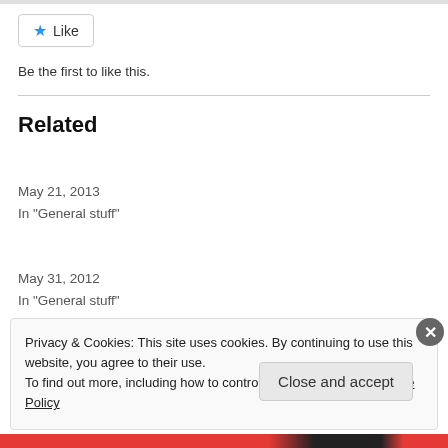[Figure (other): Like button with star icon]
Be the first to like this.
Related
Making Hay – Past, Present and Future
May 21, 2013
In "General stuff"
Top 10 Tips for Making the Most of Hay
May 31, 2012
In "General stuff"
Privacy & Cookies: This site uses cookies. By continuing to use this website, you agree to their use.
To find out more, including how to control cookies, see here: Cookie Policy
Close and accept